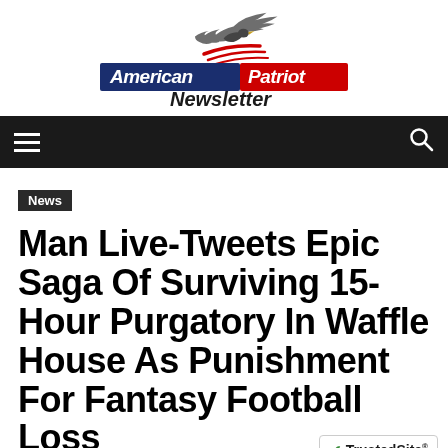[Figure (logo): American Patriot Newsletter logo with eagle/bird graphic above navy blue 'American' text and red 'Patriot' banner, with 'Newsletter' in dark text below]
Navigation bar with hamburger menu and search icon
News
Man Live-Tweets Epic Saga Of Surviving 15-Hour Purgatory In Waffle House As Punishment For Fantasy Football Loss
87 views  0 comments
[Figure (logo): TrustedSite CERTIFIED SECURE badge]